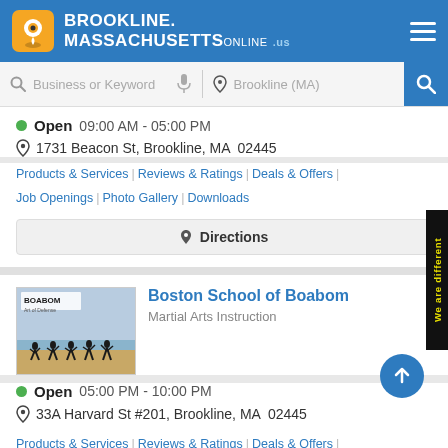BROOKLINE. MASSACHUSETTS ONLINE .us
Open  09:00 AM - 05:00 PM
1731 Beacon St, Brookline, MA  02445
Products & Services | Reviews & Ratings | Deals & Offers | Job Openings | Photo Gallery | Downloads
Directions
Boston School of Boabom
Martial Arts Instruction
Open  05:00 PM - 10:00 PM
33A Harvard St #201, Brookline, MA  02445
Products & Services | Reviews & Ratings | Deals & Offers | Job Openings | Photo Gallery | Downloads